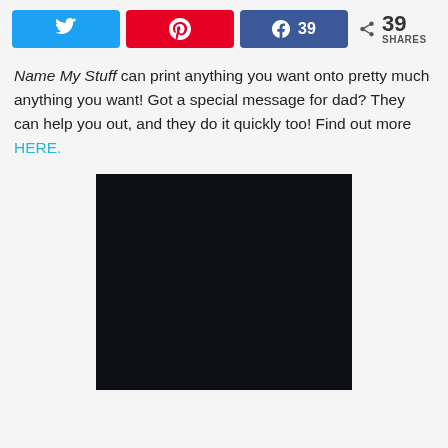[Figure (infographic): Social share bar with Twitter (blue), Pinterest (red), Facebook (blue with count 39), and share count showing 39 SHARES]
Name My Stuff can print anything you want onto pretty much anything you want! Got a special message for dad? They can help you out, and they do it quickly too! Find out more HERE.
[Figure (photo): A nearly black/very dark navy rectangular image, content not visible]